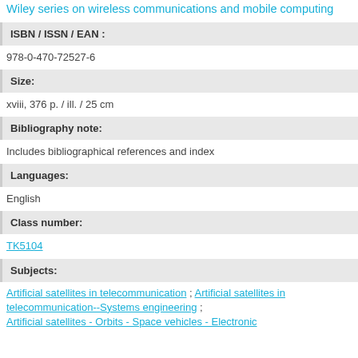Wiley series on wireless communications and mobile computing
ISBN / ISSN / EAN :
978-0-470-72527-6
Size:
xviii, 376 p. / ill. / 25 cm
Bibliography note:
Includes bibliographical references and index
Languages:
English
Class number:
TK5104
Subjects:
Artificial satellites in telecommunication ; Artificial satellites in telecommunication--Systems engineering ; Artificial satellites - Orbits - Space vehicles - Electronic